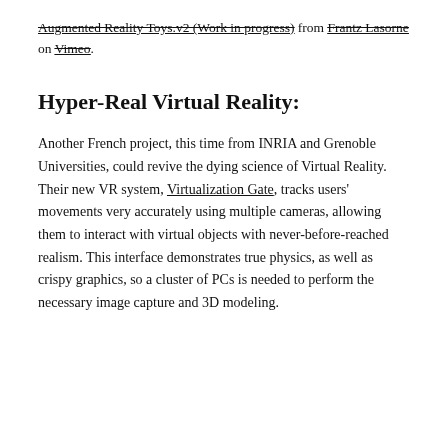Augmented Reality Toys.v2 (Work in progress) from Frantz Lasorne on Vimeo.
Hyper-Real Virtual Reality:
Another French project, this time from INRIA and Grenoble Universities, could revive the dying science of Virtual Reality. Their new VR system, Virtualization Gate, tracks users' movements very accurately using multiple cameras, allowing them to interact with virtual objects with never-before-reached realism. This interface demonstrates true physics, as well as crispy graphics, so a cluster of PCs is needed to perform the necessary image capture and 3D modeling.